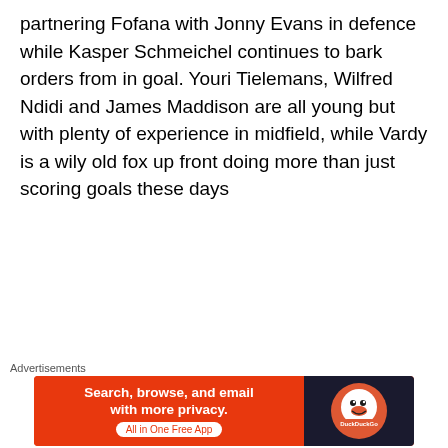partnering Fofana with Jonny Evans in defence while Kasper Schmeichel continues to bark orders from in goal. Youri Tielemans, Wilfred Ndidi and James Maddison are all young but with plenty of experience in midfield, while Vardy is a wily old fox up front doing more than just scoring goals these days
[Figure (screenshot): Embedded tweet from @EmiratesFACup saying 'A very special moment for the @LCFC chairman and his players 💙' and '#EmiratesFACup']
[Figure (screenshot): Advertisement banner for DuckDuckGo: 'Search, browse, and email with more privacy. All in One Free App']